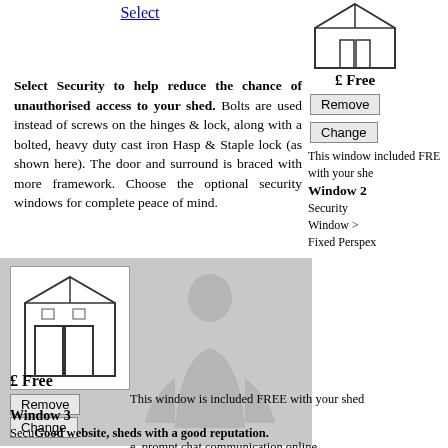Select
[Figure (illustration): Line drawing of a shed product (top right area)]
£ Free
Remove
Change
This window included FREE with your shed
Window 2
Security Window > Fixed Perspex
Select Security to help reduce the chance of unauthorised access to your shed. Bolts are used instead of screws on the hinges & lock, along with a bolted, heavy duty cast iron Hasp & Staple lock (as shown here). The door and surround is braced with more framework. Choose the optional security windows for complete peace of mind.
[Figure (illustration): Line drawing of a shed with double doors in gray product panel with person silhouette]
£ Free
Remove
Change
This window is included FREE with your shed
Window 3
Security Window >
Good website, sheds with a good reputation.
e, prompt chat communication online,